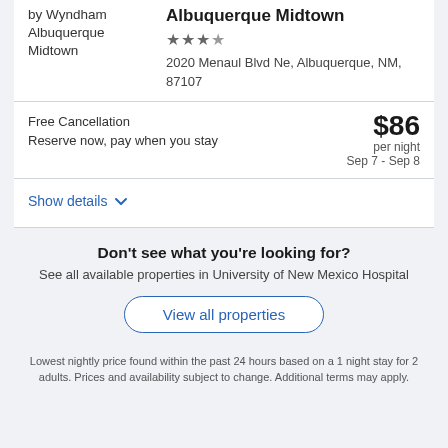by Wyndham Albuquerque Midtown
Albuquerque Midtown
★★★½
2020 Menaul Blvd Ne, Albuquerque, NM, 87107
Free Cancellation
Reserve now, pay when you stay
$86 per night Sep 7 - Sep 8
Show details
Don't see what you're looking for?
See all available properties in University of New Mexico Hospital
View all properties
Lowest nightly price found within the past 24 hours based on a 1 night stay for 2 adults. Prices and availability subject to change. Additional terms may apply.